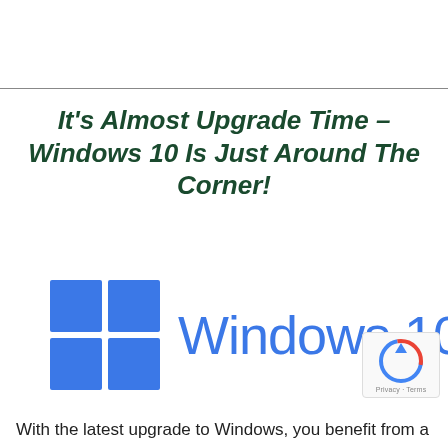It's Almost Upgrade Time – Windows 10 Is Just Around The Corner!
[Figure (logo): Windows 10 logo with blue four-pane window icon and 'Windows 10' text in blue]
With the latest upgrade to Windows, you benefit from a